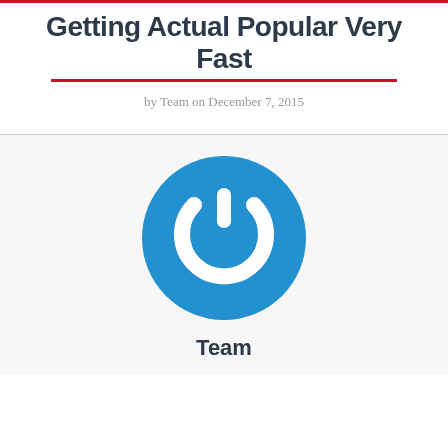Getting Actual Popular Very Fast
by Team on December 7, 2015
[Figure (logo): Blue circular power button icon with white power symbol in the center]
Team